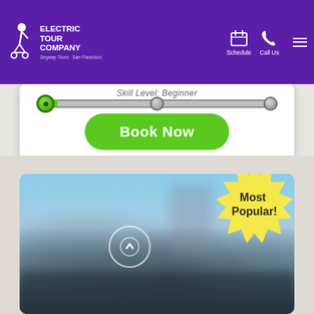Electric Tour Company – Segway Tours San Francisco – Navigation bar with Schedule and Call Us links
Skill Level: Beginner
[Figure (other): Horizontal slider control showing skill level at Beginner (leftmost position), with green filled thumb on the left and two gray thumbs in the middle and right]
[Figure (other): Green rounded rectangle Book Now button]
VIEW TOUR DETAILS
[Figure (photo): Blurred outdoor waterfront photo with people, partial view of a large mechanical structure, blue sky. Overlaid with Most Popular! starburst badge in yellow.]